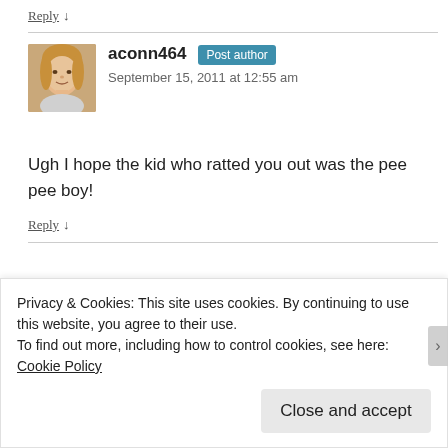Reply ↓
aconn464  Post author
September 15, 2011 at 12:55 am
Ugh I hope the kid who ratted you out was the pee pee boy!
Reply ↓
Privacy & Cookies: This site uses cookies. By continuing to use this website, you agree to their use.
To find out more, including how to control cookies, see here: Cookie Policy
Close and accept